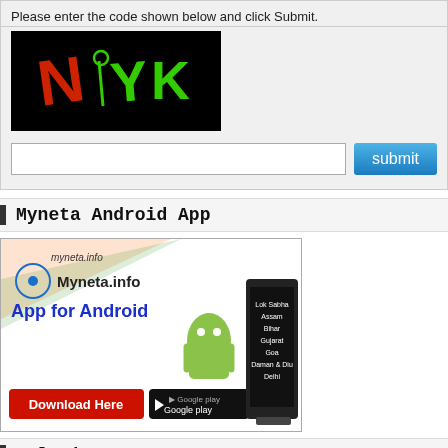Please enter the code shown below and click Submit.
[Figure (other): CAPTCHA image showing characters N YK on black background, with N in red and YK in green]
[Figure (screenshot): Text input field and blue submit button]
Myneta Android App
[Figure (infographic): Myneta.info App for Android banner with Android robot mascot, tablet showing Lok Sabha Assam Bihar Gujarat Goa Daman & Diu Delhi, Download Here button and Google Play badge]
HelpLine & SMS
You can get complete details of your Neta by calling us at 1800-110-440 or sending SMS at 9212356070. For more details click here.
Connect with us